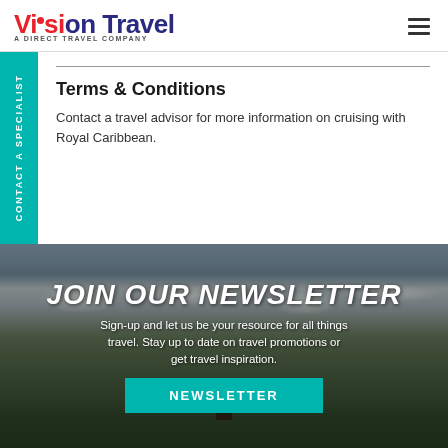Vision Travel — A Direct Travel Company
CONTACT A SPECIALIST
Terms & Conditions
Contact a travel advisor for more information on cruising with Royal Caribbean.
JOIN OUR NEWSLETTER
Sign-up and let us be your resource for all things travel. Stay up to date on travel promotions or get travel inspiration.
NEWSLETTER